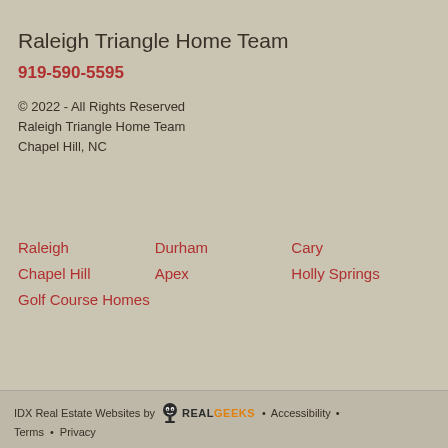Raleigh Triangle Home Team
919-590-5595
© 2022 - All Rights Reserved
Raleigh Triangle Home Team
Chapel Hill, NC
Raleigh
Durham
Cary
Chapel Hill
Apex
Holly Springs
Golf Course Homes
IDX Real Estate Websites by RealGeeks • Accessibility • Terms • Privacy